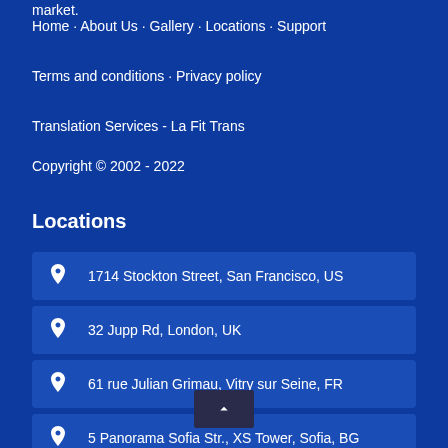market.
Home · About Us · Gallery · Locations · Support
Terms and conditions · Privacy policy
Translation Services - La Fit Trans
Copyright © 2002 - 2022
Locations
1714 Stockton Street, San Francisco, US
32 Jupp Rd, London, UK
61 rue Julian Grimau, Vitry sur Seine, FR
5 Panorama Sofia Str., XS Tower, Sofia, BG